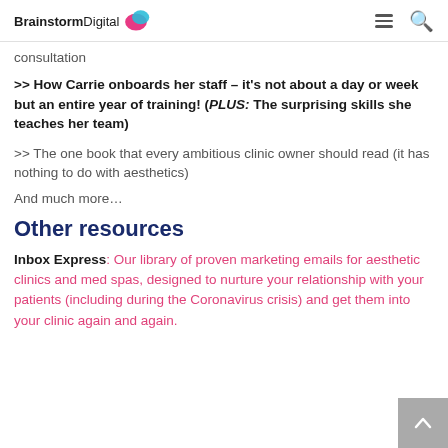BrainstormDigital
consultation
>> How Carrie onboards her staff – it's not about a day or week but an entire year of training! (PLUS: The surprising skills she teaches her team)
>> The one book that every ambitious clinic owner should read (it has nothing to do with aesthetics)
And much more…
Other resources
Inbox Express: Our library of proven marketing emails for aesthetic clinics and med spas, designed to nurture your relationship with your patients (including during the Coronavirus crisis) and get them into your clinic again and again.